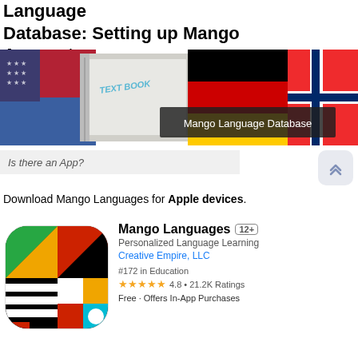Language Database: Setting up Mango Account
[Figure (photo): Banner image showing international flags (USA, Germany, Norway) and a text book, with a dark overlay label reading 'Mango Language Database']
Is there an App?
Download Mango Languages for Apple devices.
[Figure (screenshot): App Store listing for Mango Languages app. Shows the Mango logo (colorful geometric M shape on black background), app name 'Mango Languages', age rating '12+', subtitle 'Personalized Language Learning', developer 'Creative Empire, LLC', rank '#172 in Education', rating 4.8 with 21.2K ratings (5 gold stars), and 'Free · Offers In-App Purchases']